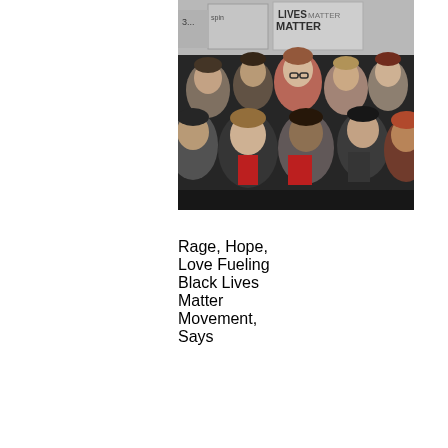[Figure (photo): Photograph of a crowd of protesters holding signs reading 'LIVES MATTER' at a Black Lives Matter rally. People of various ages are visible, some wearing red shirts.]
Rage, Hope, Love Fueling Black Lives Matter Movement, Says